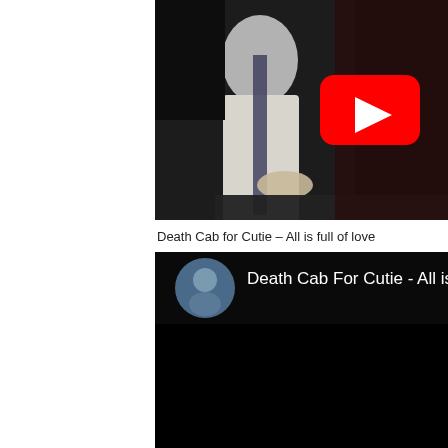[Figure (screenshot): YouTube video thumbnail showing a person in a white shirt at a piano/desk on a dark stage, with a red YouTube play button overlay]
Death Cab for Cutie – All is full of love
[Figure (screenshot): YouTube video embed showing 'Death Cab For Cutie - All is Fu...' with a circular avatar of a person in a cap on the left, on a black background]